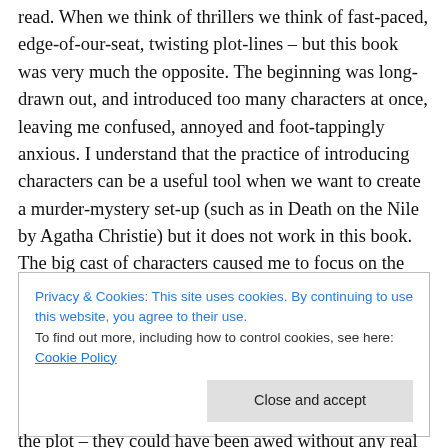read. When we think of thrillers we think of fast-paced, edge-of-our-seat, twisting plot-lines – but this book was very much the opposite. The beginning was long-drawn out, and introduced too many characters at once, leaving me confused, annoyed and foot-tappingly anxious. I understand that the practice of introducing characters can be a useful tool when we want to create a murder-mystery set-up (such as in Death on the Nile by Agatha Christie) but it does not work in this book. The big cast of characters caused me to focus on the 'family tree', which is one of my big pet hates in fiction. The character's
Privacy & Cookies: This site uses cookies. By continuing to use this website, you agree to their use.
To find out more, including how to control cookies, see here: Cookie Policy
[Close and accept]
the plot – they could have been awed without any real